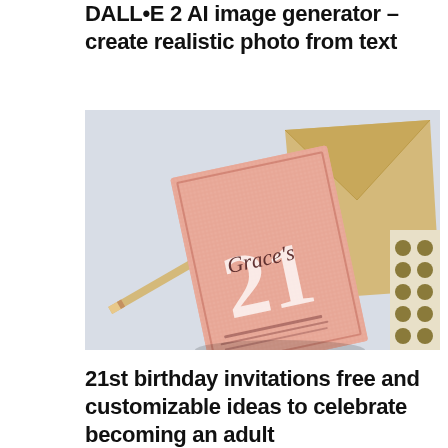DALL•E 2 AI image generator – create realistic photo from text
[Figure (photo): Birthday party invitation card reading 'Grace's 21' on a rose gold glitter card with a gold envelope and a sheet of gold polka dot stickers, alongside a golden pencil, on a light blue background.]
21st birthday invitations​‌ free and customizable ideas to celebrate becoming an adult